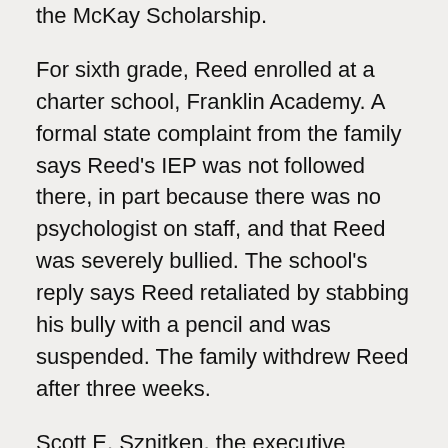the McKay Scholarship.
For sixth grade, Reed enrolled at a charter school, Franklin Academy. A formal state complaint from the family says Reed's IEP was not followed there, in part because there was no psychologist on staff, and that Reed was severely bullied. The school's reply says Reed retaliated by stabbing his bully with a pencil and was suspended. The family withdrew Reed after three weeks.
Scott E. Sznitken, the executive director of the Florida Charter Foundation, which operates the six Franklin Academies, would not discuss Reed, citing privacy. He confirmed that the schools do not have a psychologist on staff.
So, after searching high and low, Reed’s family ended up at the one school that had to take him in.